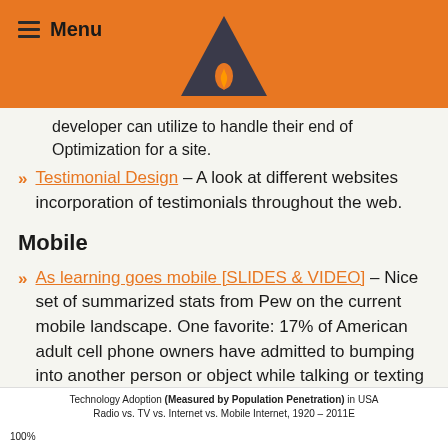Menu
developer can utilize to handle their end of Optimization for a site.
Testimonial Design – A look at different websites incorporation of testimonials throughout the web.
Mobile
As learning goes mobile [SLIDES & VIDEO] – Nice set of summarized stats from Pew on the current mobile landscape. One favorite: 17% of American adult cell phone owners have admitted to bumping into another person or object while talking or texting on their phones.
Mobile in the Context of Historical New Technology Adoption:
[Figure (line-chart): Partial chart visible at bottom of page showing technology adoption curves]